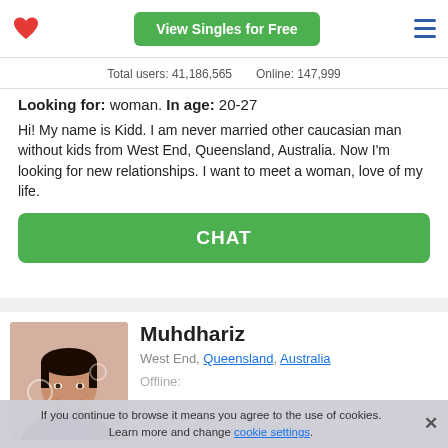View Singles for Free
Total users: 41,186,565   Online: 147,999
Zodiac sign: Pisces
Looking for: woman. In age: 20-27
Hi! My name is Kidd. I am never married other caucasian man without kids from West End, Queensland, Australia. Now I'm looking for new relationships. I want to meet a woman, love of my life.
CHAT
[Figure (photo): Profile photo of Muhdhariz, a young man smiling, wearing a dark jacket]
Muhdhariz
West End, Queensland, Australia
Offline:
If you continue to browse it means you agree to the use of cookies. Learn more and change cookie settings.